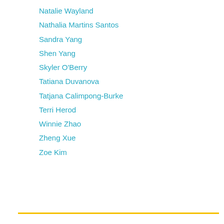Natalie Wayland
Nathalia Martins Santos
Sandra Yang
Shen Yang
Skyler O'Berry
Tatiana Duvanova
Tatjana Calimpong-Burke
Terri Herod
Winnie Zhao
Zheng Xue
Zoe Kim